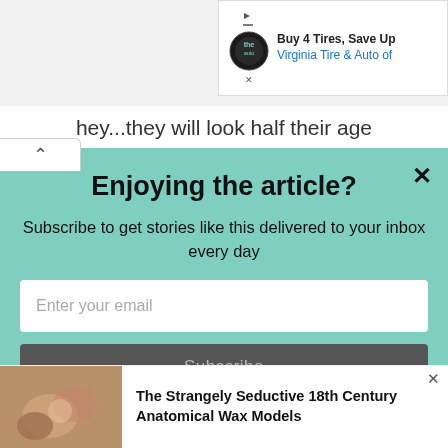[Figure (screenshot): Advertisement banner for Virginia Tire & Auto with logo, 'Buy 4 Tires, Save Up' text and link]
hey...they will look half their age
[Figure (infographic): Popup modal with mint green background: 'Enjoying the article?' heading, subscription invite text, email input field, and Subscribe button]
Enjoying the article?
Subscribe to get stories like this delivered to your inbox every day
[Figure (photo): Thumbnail image of wax anatomical models for promoted article]
The Strangely Seductive 18th Century Anatomical Wax Models